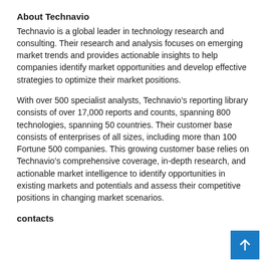About Technavio
Technavio is a global leader in technology research and consulting. Their research and analysis focuses on emerging market trends and provides actionable insights to help companies identify market opportunities and develop effective strategies to optimize their market positions.
With over 500 specialist analysts, Technavio’s reporting library consists of over 17,000 reports and counts, spanning 800 technologies, spanning 50 countries. Their customer base consists of enterprises of all sizes, including more than 100 Fortune 500 companies. This growing customer base relies on Technavio’s comprehensive coverage, in-depth research, and actionable market intelligence to identify opportunities in existing markets and potentials and assess their competitive positions in changing market scenarios.
contacts